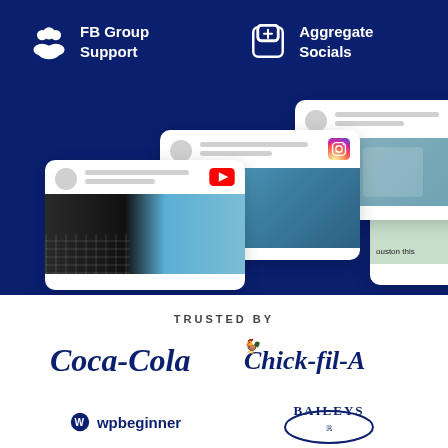FB Group Support
Aggregate Socials
[Figure (screenshot): Social media platform cards showing YouTube, Instagram, Facebook, and Twitter post previews overlapping on a dark blue background]
TRUSTED BY
[Figure (logo): Coca-Cola logo in navy blue]
[Figure (logo): Chick-fil-A logo in navy blue]
[Figure (logo): WPBeginner logo in navy blue]
[Figure (logo): Baileys logo in navy blue]